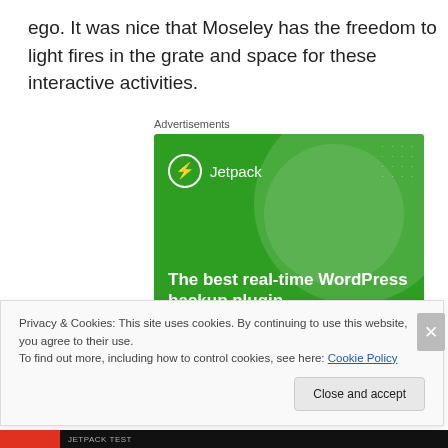ego. It was nice that Moseley has the freedom to light fires in the grate and space for these interactive activities.
[Figure (screenshot): Jetpack advertisement banner with green background showing 'The best real-time WordPress backup plugin' with Jetpack logo]
Privacy & Cookies: This site uses cookies. By continuing to use this website, you agree to their use. To find out more, including how to control cookies, see here: Cookie Policy